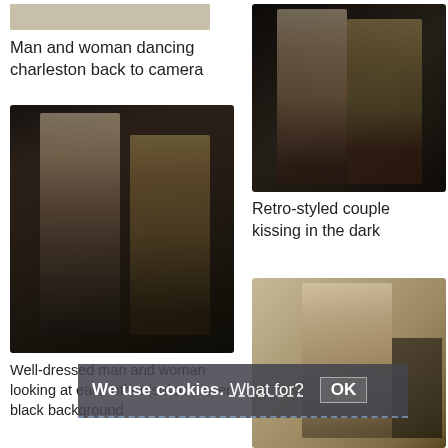[Figure (photo): Top left beige/tan placeholder bar]
Man and woman dancing charleston back to camera
[Figure (photo): Black and white sepia photo of man and woman in 1920s retro style, man in waistcoat, woman in sequin dress touching his face]
[Figure (photo): Black and white photo of retro-styled couple kissing in the dark, man in plaid trousers, woman in sequin dress with leg raised]
Retro-styled couple kissing in the dark
[Figure (photo): Sepia-toned photo of well-dressed man and woman, partially obscured by cookie banner]
Well-dressed man and woman looking at each other isolated over black background
We use cookies.  What for?  OK